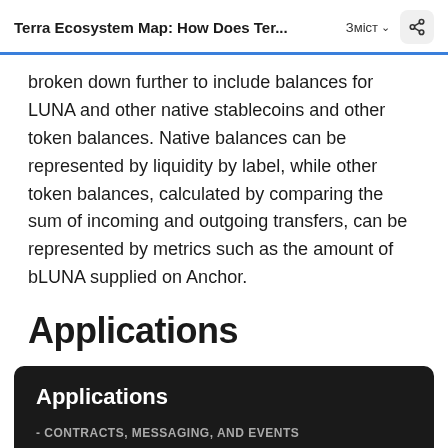Terra Ecosystem Map: How Does Ter...  Зміст
broken down further to include balances for LUNA and other native stablecoins and other token balances. Native balances can be represented by liquidity by label, while other token balances, calculated by comparing the sum of incoming and outgoing transfers, can be represented by metrics such as the amount of bLUNA supplied on Anchor.
Applications
[Figure (screenshot): Dark-background card showing 'Applications' heading with subtitle '- CONTRACTS, MESSAGING, AND EVENTS' and text 'Terra's app/smart contract development system is called Wasm. Message payloads emitted by those contracts']